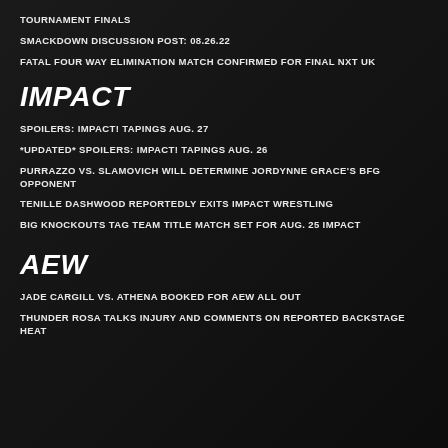TOURNAMENT FINALS
SMACKDOWN DISCUSSION POST: 08.26.22
FATAL FOUR WAY ELIMINATION MATCH CONFIRMED FOR FINAL NXT UK
IMPACT
SPOILERS: IMPACT! TAPINGS AUG. 27
*UPDATED* SPOILERS: IMPACT! TAPINGS AUG. 26
PURRAZZO VS. SLAMOVICH WILL DETERMINE JORDYNNE GRACE'S BFG OPPONENT
TENILLE DASHWOOD REPORTEDLY EXITS IMPACT WRESTLING
BIG KNOCKOUTS TAG TEAM TITLE MATCH SET FOR AUG. 25 IMPACT
AEW
JADE CARGILL VS. ATHENA BOOKED FOR AEW ALL OUT
THUNDER ROSA TALKS INJURY AND COMMENTS ON REPORTED BACKSTAGE HEAT